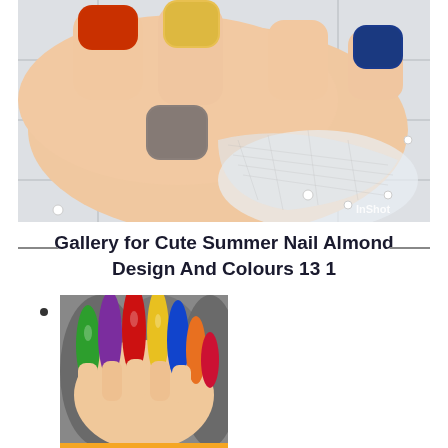[Figure (photo): Close-up photo of hands with colorful painted nails (orange, red, yellow/cream, gray, blue) holding sheer mesh fabric on a light tiled background. InShot watermark in bottom right.]
Gallery for Cute Summer Nail Almond Design And Colours 13 1
•
[Figure (photo): Photo of hands with long almond-shaped colorful nails (green, purple, red, yellow, blue, orange, pink) with gold rings, resting on gray fur/fluffy surface.]